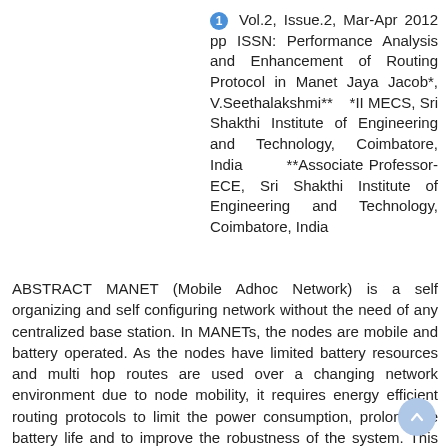1 Vol.2, Issue.2, Mar-Apr 2012 pp ISSN: Performance Analysis and Enhancement of Routing Protocol in Manet Jaya Jacob*, V.Seethalakshmi** *II MECS, Sri Shakthi Institute of Engineering and Technology, Coimbatore, India **Associate Professor-ECE, Sri Shakthi Institute of Engineering and Technology, Coimbatore, India
ABSTRACT MANET (Mobile Adhoc Network) is a self organizing and self configuring network without the need of any centralized base station. In MANETs, the nodes are mobile and battery operated. As the nodes have limited battery resources and multi hop routes are used over a changing network environment due to node mobility, it requires energy efficient routing protocols to limit the power consumption, prolong the battery life and to improve the robustness of the system. This paper evaluates the performance of various adhoc routing